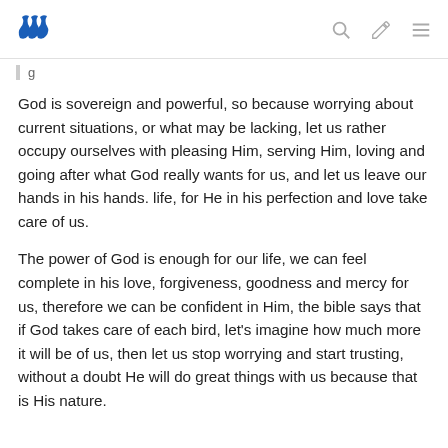Steem logo header with search, edit, and menu icons
g
God is sovereign and powerful, so because worrying about current situations, or what may be lacking, let us rather occupy ourselves with pleasing Him, serving Him, loving and going after what God really wants for us, and let us leave our hands in his hands. life, for He in his perfection and love take care of us.
The power of God is enough for our life, we can feel complete in his love, forgiveness, goodness and mercy for us, therefore we can be confident in Him, the bible says that if God takes care of each bird, let's imagine how much more it will be of us, then let us stop worrying and start trusting, without a doubt He will do great things with us because that is His nature.